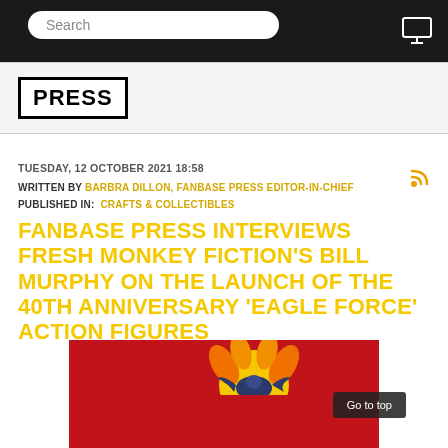Search
[Figure (logo): Fanbase Press logo showing PRESS in bold black text with border]
TUESDAY, 12 OCTOBER 2021 18:58
WRITTEN BY BARBRA DILLON, FANBASE PRESS EDITOR-IN-CHIEF
PUBLISHED IN: CRAFTS & COLLECTIBLES
FANBASE PRESS INTERVIEWS FRESH MONKEY FICTION'S BILL MURPHY ON THE LAUNCH OF THE 40TH ANNIVERSARY 'EAGLE FORCE' ACTION FIGURES
[Figure (photo): 40th Anniversary Eagle Force logo with red background, large '4' numeral and eagle with flame graphic]